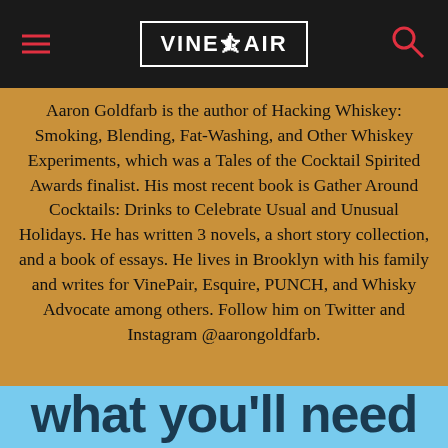VinePair
Aaron Goldfarb is the author of Hacking Whiskey: Smoking, Blending, Fat-Washing, and Other Whiskey Experiments, which was a Tales of the Cocktail Spirited Awards finalist. His most recent book is Gather Around Cocktails: Drinks to Celebrate Usual and Unusual Holidays. He has written 3 novels, a short story collection, and a book of essays. He lives in Brooklyn with his family and writes for VinePair, Esquire, PUNCH, and Whisky Advocate among others. Follow him on Twitter and Instagram @aarongoldfarb.
what you'll need